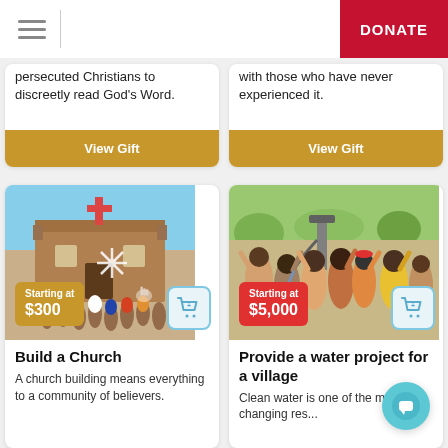DONATE
persecuted Christians to discreetly read God's Word.
with those who have never experienced it.
View Gift
View Gift
[Figure (photo): Group of people standing in front of a brick church building with a red cross on top, arms raised]
Starting at $300
[Figure (photo): Group of African villagers celebrating at a water pump/well, arms raised, smiling]
Starting at $5,000
Build a Church
A church building means everything to a community of believers.
Provide a water project for a village
Clean water is one of the most life-changing res...